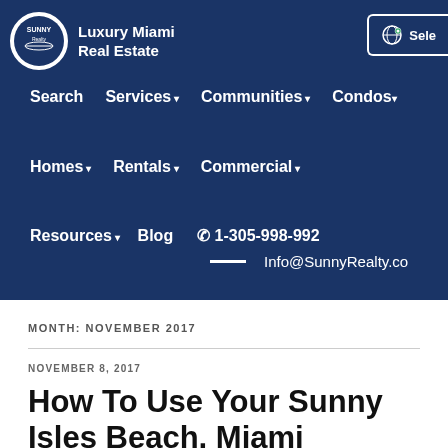Sunny Realty — Luxury Miami Real Estate
MONTH: NOVEMBER 2017
NOVEMBER 8, 2017
How To Use Your Sunny Isles Beach, Miami Investment Property